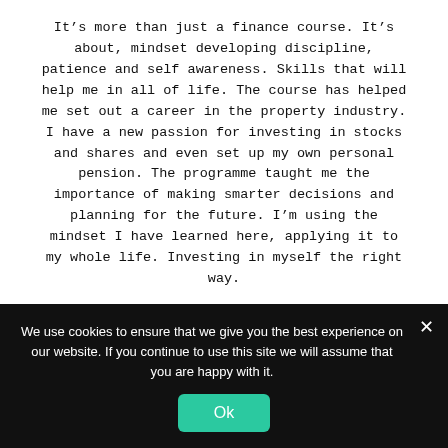It's more than just a finance course. It's about, mindset developing discipline, patience and self awareness. Skills that will help me in all of life. The course has helped me set out a career in the property industry. I have a new passion for investing in stocks and shares and even set up my own personal pension. The programme taught me the importance of making smarter decisions and planning for the future. I'm using the mindset I have learned here, applying it to my whole life. Investing in myself the right way.
[Figure (photo): Circular avatar photo of a person with a backpack viewed from behind, outdoors in a natural setting]
We use cookies to ensure that we give you the best experience on our website. If you continue to use this site we will assume that you are happy with it.